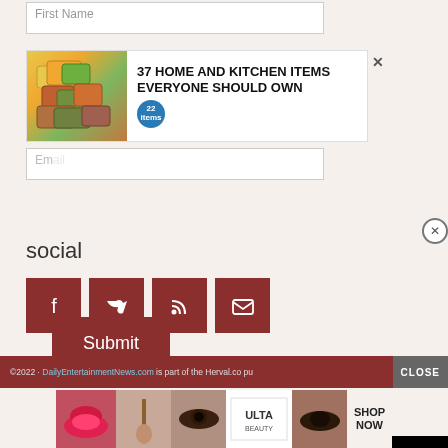First Name
[Figure (screenshot): Advertisement banner: 37 HOME AND KITCHEN ITEMS EVERYONE SHOULD OWN with colorful storage bag images and a badge showing 22]
Email
Submit
social
[Figure (screenshot): Social media icons: Facebook, Twitter, RSS, Email - dark red square buttons]
[Figure (screenshot): Video player overlay showing black screen with loading spinner arc]
©2022 · DailyEntertainmentNews.com is part of the Herval.co pu...nily
[Figure (screenshot): Bottom advertisement: ULTA beauty shop now banner with makeup/cosmetics images]